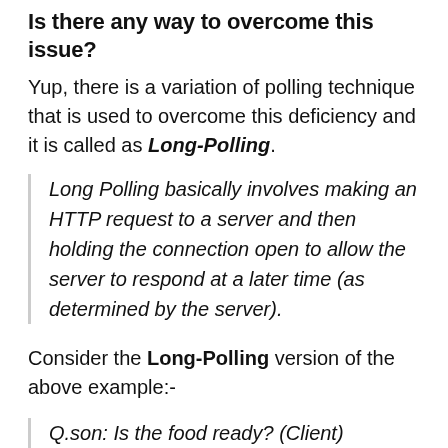Is there any way to overcome this issue?
Yup, there is a variation of polling technique that is used to overcome this deficiency and it is called as Long-Polling.
Long Polling basically involves making an HTTP request to a server and then holding the connection open to allow the server to respond at a later time (as determined by the server).
Consider the Long-Polling version of the above example:-
Q.son: Is the food ready? (Client)